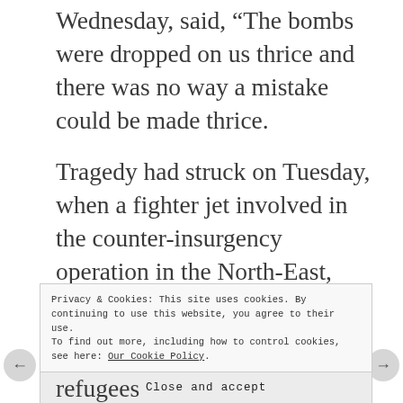Wednesday, said, “The bombs were dropped on us thrice and there was no way a mistake could be made thrice.
Tragedy had struck on Tuesday, when a fighter jet involved in the counter-insurgency operation in the North-East, fired at aid workers, soldiers and displaced persons in error, killing no fewer than 100 persons on the ground.
Privacy & Cookies: This site uses cookies. By continuing to use this website, you agree to their use.
To find out more, including how to control cookies, see here: Our Cookie Policy
Close and accept
refugees